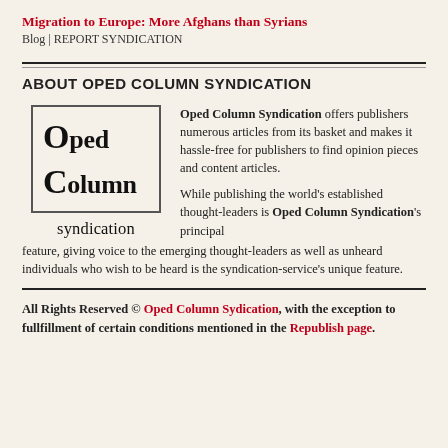Migration to Europe: More Afghans than Syrians
Blog | REPORT SYNDICATION
ABOUT OPED COLUMN SYNDICATION
[Figure (logo): Oped Column Syndication logo: a bordered box with large letters O and C followed by 'ped' and 'olumn', and the word 'syndication' below the box.]
Oped Column Syndication offers publishers numerous articles from its basket and makes it hassle-free for publishers to find opinion pieces and content articles.

While publishing the world's established thought-leaders is Oped Column Syndication's principal feature, giving voice to the emerging thought-leaders as well as unheard individuals who wish to be heard is the syndication-service's unique feature.
All Rights Reserved © Oped Column Sydication, with the exception to fullfillment of certain conditions mentioned in the Republish page.